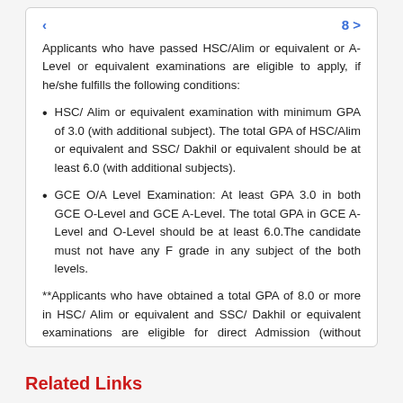Applicants who have passed HSC/Alim or equivalent or A-Level or equivalent examinations are eligible to apply, if he/she fulfills the following conditions:
HSC/ Alim or equivalent examination with minimum GPA of 3.0 (with additional subject). The total GPA of HSC/Alim or equivalent and SSC/ Dakhil or equivalent should be at least 6.0 (with additional subjects).
GCE O/A Level Examination: At least GPA 3.0 in both GCE O-Level and GCE A-Level. The total GPA in GCE A-Level and O-Level should be at least 6.0.The candidate must not have any F grade in any subject of the both levels.
**Applicants who have obtained a total GPA of 8.0 or more in HSC/ Alim or equivalent and SSC/ Dakhil or equivalent examinations are eligible for direct Admission (without Admission Test).
Related Links